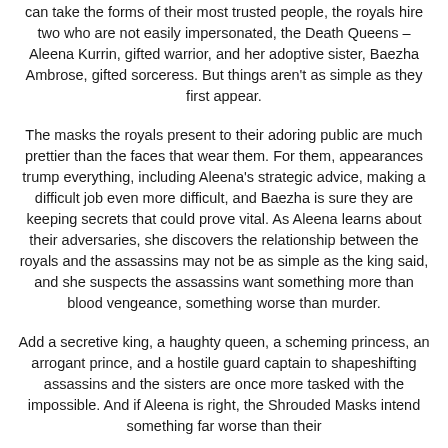can take the forms of their most trusted people, the royals hire two who are not easily impersonated, the Death Queens – Aleena Kurrin, gifted warrior, and her adoptive sister, Baezha Ambrose, gifted sorceress. But things aren't as simple as they first appear.
The masks the royals present to their adoring public are much prettier than the faces that wear them. For them, appearances trump everything, including Aleena's strategic advice, making a difficult job even more difficult, and Baezha is sure they are keeping secrets that could prove vital. As Aleena learns about their adversaries, she discovers the relationship between the royals and the assassins may not be as simple as the king said, and she suspects the assassins want something more than blood vengeance, something worse than murder.
Add a secretive king, a haughty queen, a scheming princess, an arrogant prince, and a hostile guard captain to shapeshifting assassins and the sisters are once more tasked with the impossible. And if Aleena is right, the Shrouded Masks intend something far worse than their